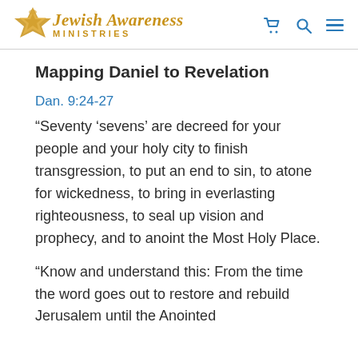Jewish Awareness Ministries
Mapping Daniel to Revelation
Dan. 9:24-27
“Seventy ‘sevens’ are decreed for your people and your holy city to finish transgression, to put an end to sin, to atone for wickedness, to bring in everlasting righteousness, to seal up vision and prophecy, and to anoint the Most Holy Place.
“Know and understand this: From the time the word goes out to restore and rebuild Jerusalem until the Anointed